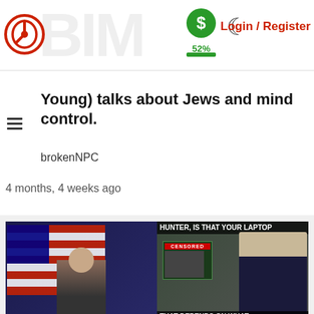Login / Register | 52%
Young) talks about Jews and mind control.
brokenNPC
4 months, 4 weeks ago
[Figure (screenshot): Video thumbnail showing a bald man in front of American flag on left side, and a man in a suit on the right side with text overlays. Bottom bar shows 213 views, website URL, and duration 24:12]
WHORES DOING WHAT THEY DO BEST FOR 30 MINUTES: